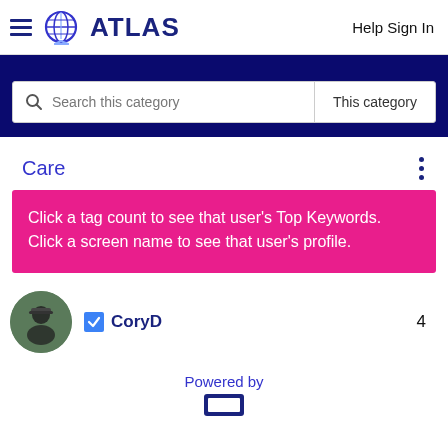≡ 🌐 ATLAS   Help Sign In
[Figure (screenshot): Search bar with 'Search this category' placeholder and 'This category' dropdown on dark navy background]
Care
Click a tag count to see that user's Top Keywords. Click a screen name to see that user's profile.
CoryD   4
Powered by